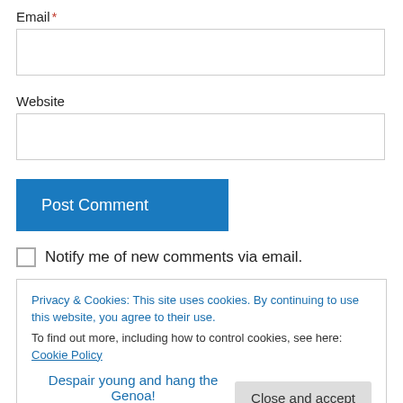Email *
Website
Post Comment
Notify me of new comments via email.
Privacy & Cookies: This site uses cookies. By continuing to use this website, you agree to their use.
To find out more, including how to control cookies, see here: Cookie Policy
Close and accept
Despair young and hang the Genoa!